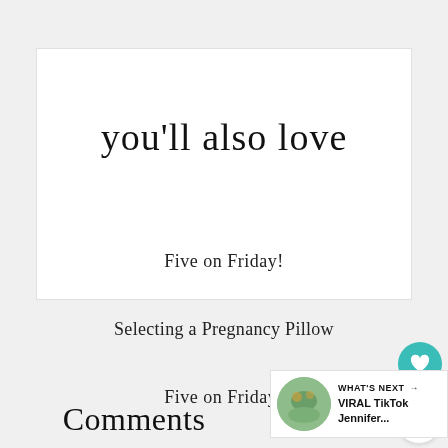you'll also love
Five on Friday!
Selecting a Pregnancy Pillow
Five on Friday!
Comments
WHAT'S NEXT → VIRAL TikTok Jennifer...